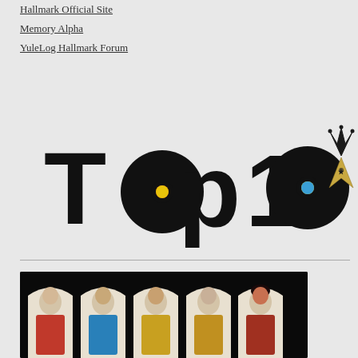Hallmark Official Site
Memory Alpha
YuleLog Hallmark Forum
[Figure (logo): Top 10 logo with vinyl record style letters and Star Trek insignia with crown]
[Figure (photo): Star Trek character figurines arranged in arched frames against a black background]